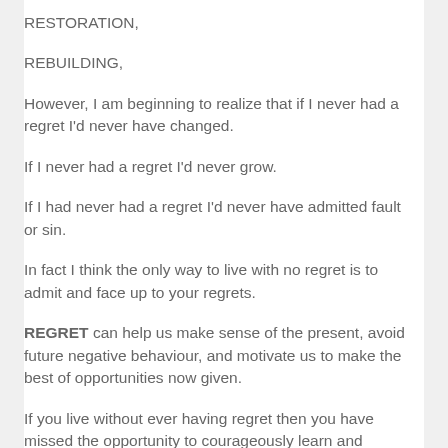RESTORATION,
REBUILDING,
However, I am beginning to realize that if I never had a regret I'd never have changed.
If I never had a regret I'd never grow.
If I had never had a regret I'd never have admitted fault or sin.
In fact I think the only way to live with no regret is to admit and face up to your regrets.
REGRET can help us make sense of the present, avoid future negative behaviour, and motivate us to make the best of opportunities now given.
If you live without ever having regret then you have missed the opportunity to courageously learn and change for the better.